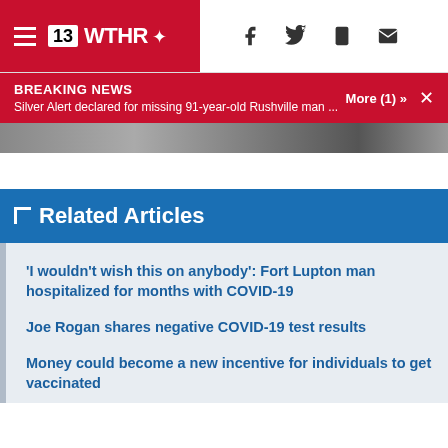13 WTHR NBC
BREAKING NEWS
Silver Alert declared for missing 91-year-old Rushville man ...
More (1) »
[Figure (photo): Partial image strip showing blurred/cropped photo at top of news article]
Related Articles
'I wouldn't wish this on anybody': Fort Lupton man hospitalized for months with COVID-19
Joe Rogan shares negative COVID-19 test results
Money could become a new incentive for individuals to get vaccinated